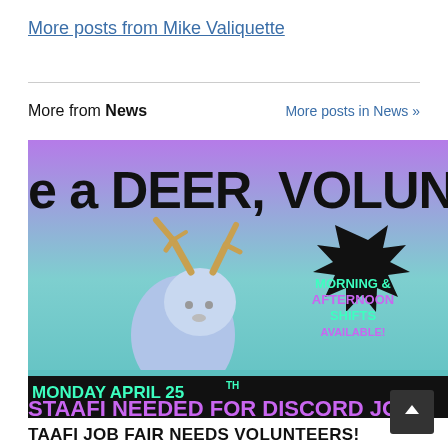More posts from Mike Valiquette
More from News
More posts in News »
[Figure (illustration): Promotional image for TAAFI Job Fair volunteer recruitment. Purple/teal background with cartoon deer character. Text reads: 'e a DEER, VOLUNTEE' at top, 'MORNING & AFTERNOON SHIFTS AVAILABLE!' in a black starburst shape, 'MONDAY APRIL 25TH' and 'STAAFI NEEDED FOR DISCORD JOB F' at bottom in teal/purple colors.]
TAAFI JOB FAIR NEEDS VOLUNTEERS!